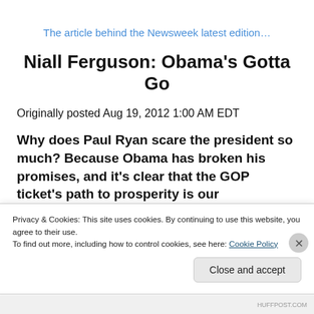The article behind the Newsweek latest edition…
Niall Ferguson: Obama's Gotta Go
Originally posted Aug 19, 2012 1:00 AM EDT
Why does Paul Ryan scare the president so much? Because Obama has broken his promises, and it's clear that the GOP ticket's path to prosperity is our
Privacy & Cookies: This site uses cookies. By continuing to use this website, you agree to their use.
To find out more, including how to control cookies, see here: Cookie Policy
Close and accept